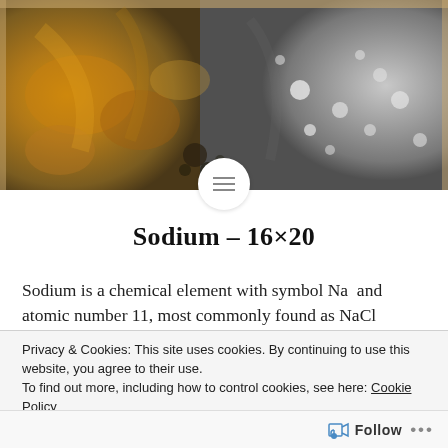[Figure (photo): Abstract photograph showing sodium chemical reaction: left half warm golden-orange-brown tones, right half cool silver-grey with bubbles, split composition.]
Sodium – 16×20
Sodium is a chemical element with symbol Na  and atomic number 11, most commonly found as NaCl sodium chloride
Privacy & Cookies: This site uses cookies. By continuing to use this website, you agree to their use.
To find out more, including how to control cookies, see here: Cookie Policy
Close and accept
Follow ...